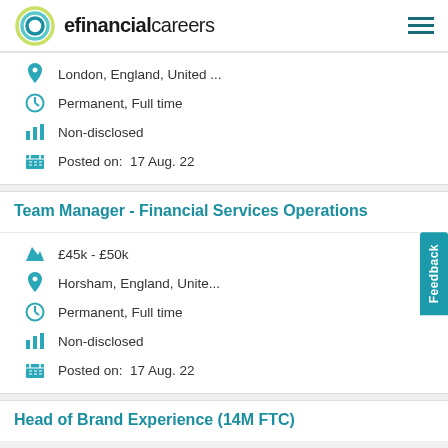efinancialcareers
London, England, United ...
Permanent, Full time
Non-disclosed
Posted on:  17 Aug. 22
Team Manager - Financial Services Operations
£45k - £50k
Horsham, England, Unite...
Permanent, Full time
Non-disclosed
Posted on:  17 Aug. 22
Head of Brand Experience (14M FTC)